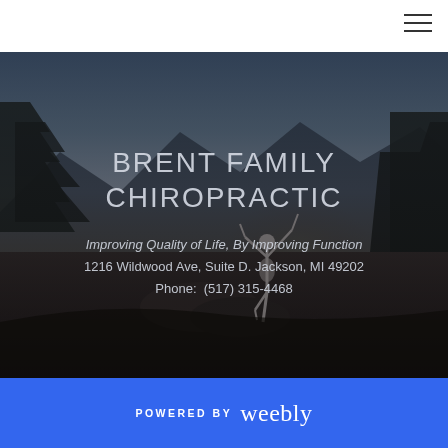[Figure (photo): Hero background image of a person doing a yoga tree pose on rocks at sunset/dusk with dark trees and mountains in the background. Dark overlay applied.]
BRENT FAMILY CHIROPRACTIC
Improving Quality of Life, By Improving Function
1216 Wildwood Ave, Suite D. Jackson, MI 49202
Phone:  (517) 315-4468
POWERED BY weebly